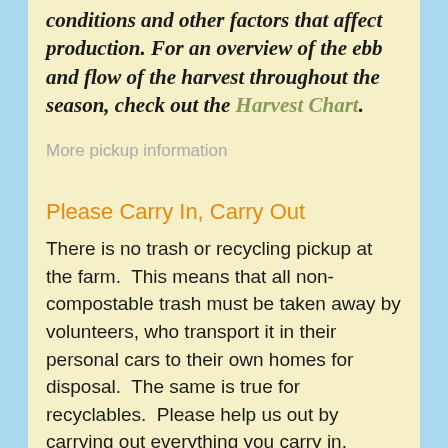conditions and other factors that affect production. For an overview of the ebb and flow of the harvest throughout the season, check out the Harvest Chart.
More pickup information
Please Carry In, Carry Out
There is no trash or recycling pickup at the farm.  This means that all non-compostable trash must be taken away by volunteers, who transport it in their personal cars to their own homes for disposal.  The same is true for recyclables.  Please help us out by carrying out everything you carry in.